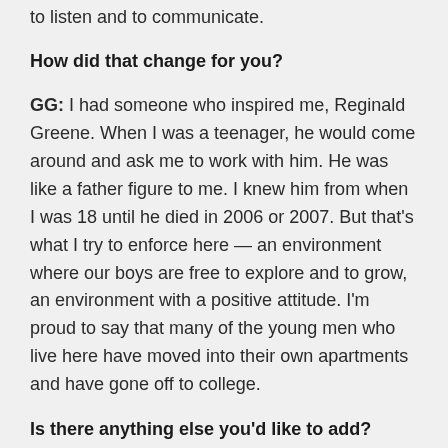to listen and to communicate.
How did that change for you?
GG: I had someone who inspired me, Reginald Greene. When I was a teenager, he would come around and ask me to work with him. He was like a father figure to me. I knew him from when I was 18 until he died in 2006 or 2007. But that's what I try to enforce here — an environment where our boys are free to explore and to grow, an environment with a positive attitude. I'm proud to say that many of the young men who live here have moved into their own apartments and have gone off to college.
Is there anything else you'd like to add?